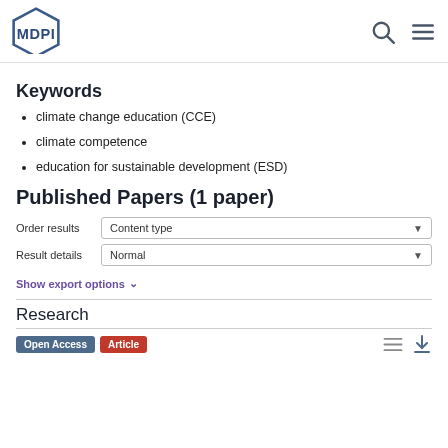MDPI
Keywords
climate change education (CCE)
climate competence
education for sustainable development (ESD)
Published Papers (1 paper)
Order results  Content type
Result details  Normal
Show export options
Research
Open Access  Article